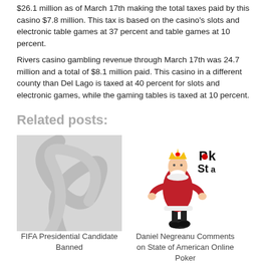$26.1 million as of March 17th making the total taxes paid by this casino $7.8 million. This tax is based on the casino's slots and electronic table games at 37 percent and table games at 10 percent.
Rivers casino gambling revenue through March 17th was 24.7 million and a total of $8.1 million paid. This casino in a different county than Del Lago is taxed at 40 percent for slots and electronic games, while the gaming tables is taxed at 10 percent.
Related posts:
[Figure (illustration): Gray abstract swirl placeholder image for FIFA Presidential Candidate Banned post]
FIFA Presidential Candidate Banned
[Figure (illustration): PokerStars king character illustration with PokerStars logo for Daniel Negreanu Comments on State of American Online Poker post]
Daniel Negreanu Comments on State of American Online Poker